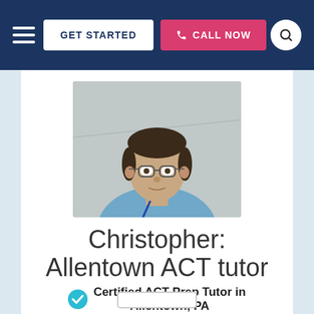GET STARTED | CALL NOW
[Figure (photo): Headshot photo of Christopher, a man with dark hair, glasses, and a blue shirt with a lanyard, photographed indoors against a light background.]
Christopher: Allentown ACT tutor
Certified ACT Prep Tutor in Allentown, PA